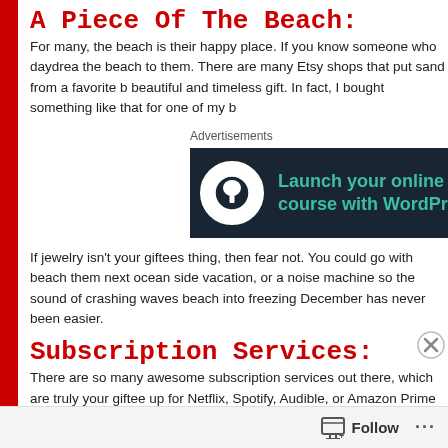A Piece Of The Beach:
For many, the beach is their happy place. If you know someone who daydrea... the beach to them. There are many Etsy shops that put sand from a favorite b... beautiful and timeless gift. In fact, I bought something like that for one of my b...
Advertisements
[Figure (screenshot): Dark-themed advertisement banner: 'Launch your online course with WordPress' with a tree icon in a circle on the left.]
If jewelry isn't your giftees thing, then fear not. You could go with beach them... next ocean side vacation, or a noise machine so the sound of crashing waves... beach into freezing December has never been easier.
Subscription Services:
There are so many awesome subscription services out there, which are truly... your giftee up for Netflix, Spotify, Audible, or Amazon Prime for easy access t... boxes like Sephora Play! for makeup gurus, BirchBox for pampering, or Hello... will be like the holidays all over again when their monthly box arrives in th...
Advertisements
[Figure (screenshot): Green advertisement banner at the bottom of the page.]